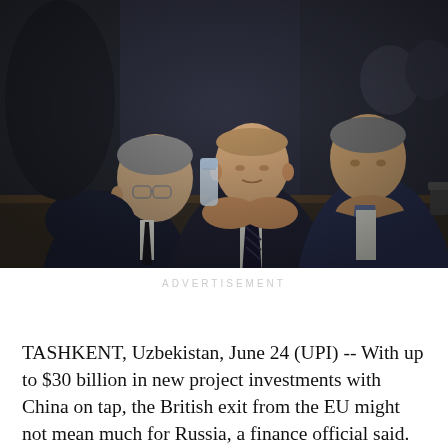[Figure (photo): Photo of several men in dark suits seated at a table at what appears to be a formal diplomatic meeting. Sergei Lavrov is visible on the left wearing glasses. Vladimir Putin is in the center. Another official in a blue suit with a light blue lanyard/badge sits to the right. Water bottles and microphones are visible on the table.]
ADVERTISEMENT
TASHKENT, Uzbekistan, June 24 (UPI) -- With up to $30 billion in new project investments with China on tap, the British exit from the EU might not mean much for Russia, a finance official said.